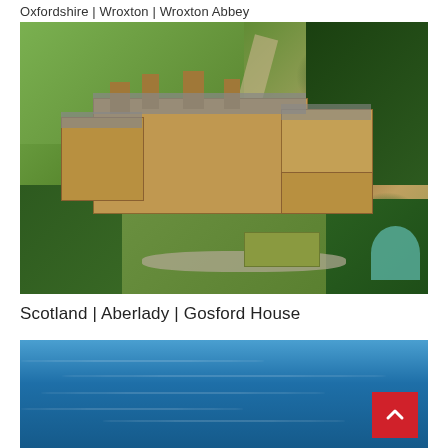Oxfordshire | Wroxton | Wroxton Abbey
[Figure (photo): Aerial photograph of Wroxton Abbey, a large Jacobean manor house in Oxfordshire, surrounded by green lawns, trees, and formal gardens with a curved driveway.]
Scotland | Aberlady | Gosford House
[Figure (photo): Aerial or elevated photograph of Gosford House in Aberlady, Scotland, showing blue water/sea in the foreground.]